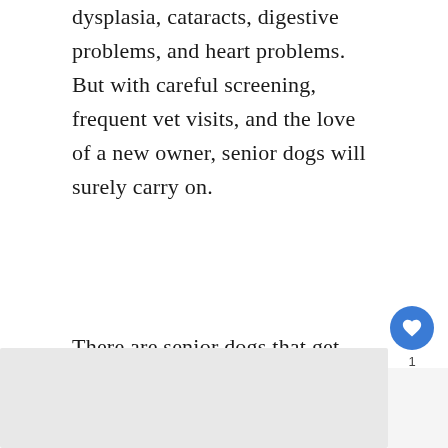dysplasia, cataracts, digestive problems, and heart problems. But with careful screening, frequent vet visits, and the love of a new owner, senior dogs will surely carry on.
There are senior dogs that get rescued from shelters and adoption centers that continue to live long and fruitful lives in the care of loving owners. Usually, senior dogs just need a little more attention, good nutrition and the care of a good vet.